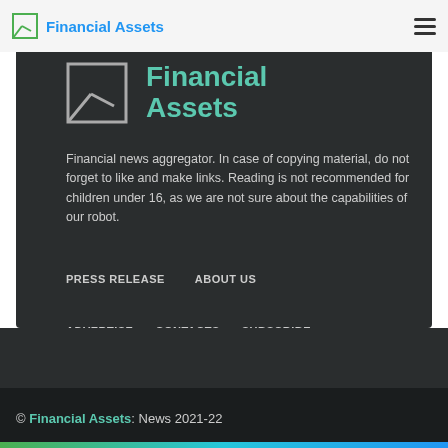Financial Assets
[Figure (logo): Financial Assets logo with green icon and teal text showing 'Financial Assets' in large bold type inside dark card]
Financial news aggregator. In case of copying material, do not forget to like and make links. Reading is not recommended for children under 16, as we are not sure about the capabilities of our robot.
PRESS RELEASE
ABOUT US
ADVERTISE
CONTACTS
SUBSCRIBE
© Financial Assets: News 2021-22